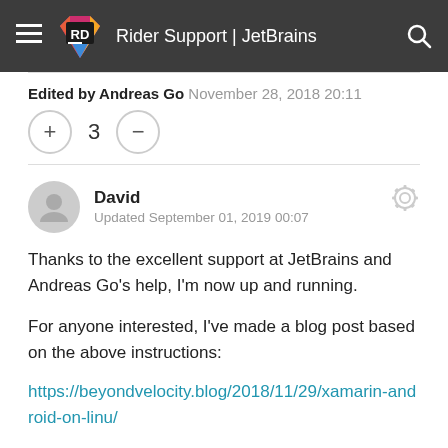Rider Support | JetBrains
Edited by Andreas Go November 28, 2018 20:11
+ 3 −
David
Updated September 01, 2019 00:07
Thanks to the excellent support at JetBrains and Andreas Go's help, I'm now up and running.
For anyone interested, I've made a blog post based on the above instructions:
https://beyondvelocity.blog/2018/11/29/xamarin-android-on-linu/